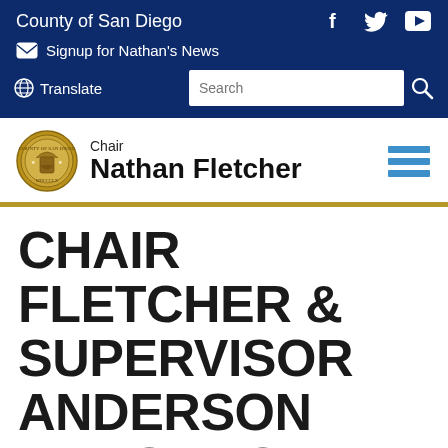County of San Diego
Signup for Nathan's News
Translate
[Figure (logo): County of San Diego seal — circular gold seal]
Chair
Nathan Fletcher
CHAIR FLETCHER & SUPERVISOR ANDERSON ANNOUNCE